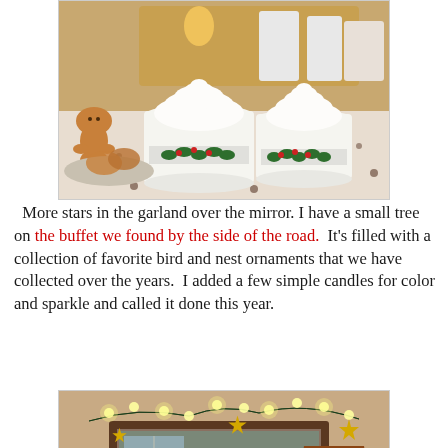[Figure (photo): Christmas mugs with whipped cream topped hot cocoa on a holiday patterned tablecloth, with gingerbread cookies and Christmas-themed dishware in the background]
More stars in the garland over the mirror. I have a small tree on the buffet we found by the side of the road.  It's filled with a collection of favorite bird and nest ornaments that we have collected over the years.  I added a few simple candles for color and sparkle and called it done this year.
[Figure (photo): A mirror with garland decorated with lights and gold star ornaments above it, with a lamp and framed picture visible in the reflection]